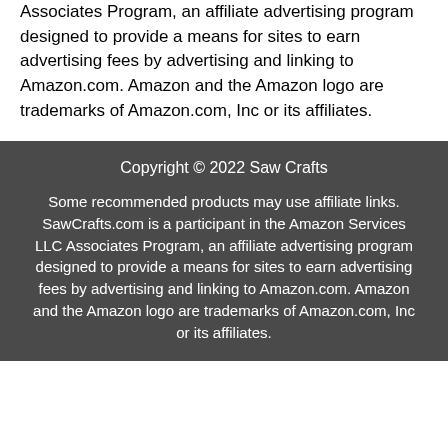Associates Program, an affiliate advertising program designed to provide a means for sites to earn advertising fees by advertising and linking to Amazon.com. Amazon and the Amazon logo are trademarks of Amazon.com, Inc or its affiliates.
Copyright © 2022 Saw Crafts
Some recommended products may use affiliate links. SawCrafts.com is a participant in the Amazon Services LLC Associates Program, an affiliate advertising program designed to provide a means for sites to earn advertising fees by advertising and linking to Amazon.com. Amazon and the Amazon logo are trademarks of Amazon.com, Inc or its affiliates.